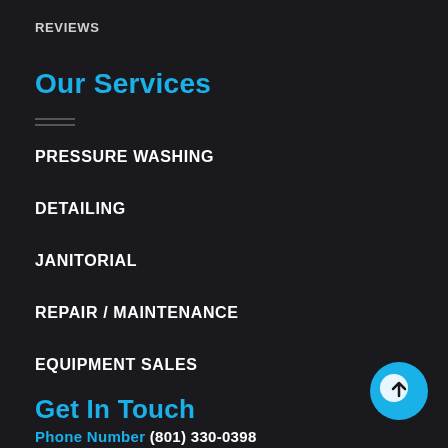REVIEWS
Our Services
PRESSURE WASHING
DETAILING
JANITORIAL
REPAIR / MAINTENANCE
EQUIPMENT SALES
Get In Touch
Phone Number (801) 330-0398
[Figure (other): Back to top circular blue button with upward arrow icon]